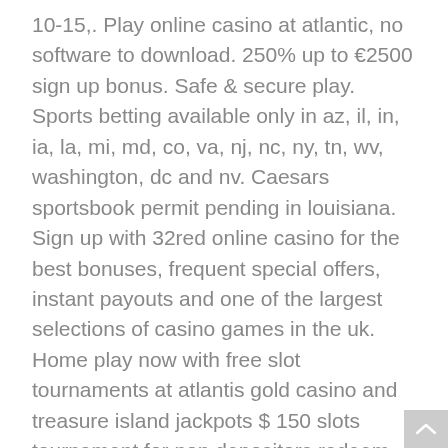10-15,. Play online casino at atlantic, no software to download. 250% up to €2500 sign up bonus. Safe & secure play. Sports betting available only in az, il, in, ia, la, mi, md, co, va, nj, nc, ny, tn, wv, washington, dc and nv. Caesars sportsbook permit pending in louisiana. Sign up with 32red online casino for the best bonuses, frequent special offers, instant payouts and one of the largest selections of casino games in the uk. Home play now with free slot tournaments at atlantis gold casino and treasure island jackpots $ 150 slots tournament for non depositors redeem coupon:. Play and win when you bet at spin! claim your amazing spin palace online casino bonus while enjoying more than 600 award winning online casino games. The christian science monitor is an international news organization that delivers thoughtful, global coverage via its website, weekly magazine, online daily. Atlantic casino club is rated 1. 7 out of 5 and is blacklisted. A account with atlantic casino club and receive some free spins as no deposit bonus. Melden sie sich noch heute an und erhalten sie 10 freispiele und einen 200% match willkommens...